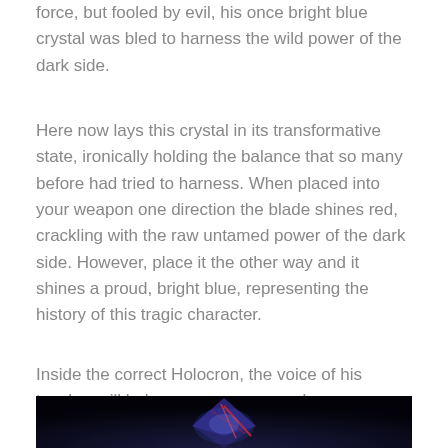force, but fooled by evil, his once bright blue crystal was bled to harness the wild power of the dark side.
Here now lays this crystal in its transformative state, ironically holding the balance that so many before had tried to harness. When placed into your weapon one direction the blade shines red, crackling with the raw untamed power of the dark side. However, place it the other way and it shines a proud, bright blue, representing the history of this tragic character.
Inside the correct Holocron, the voice of his teacher will help you, or warn you along your own path.
[Figure (photo): A glowing crystal with red and blue hues photographed against a dark background, showing purple/blue facets with red vein-like lines running across it.]